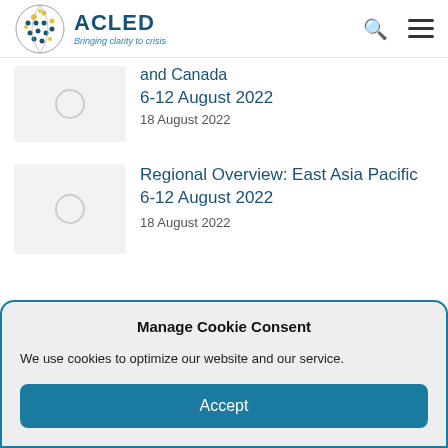ACLED — Bringing clarity to crisis
and Canada
6-12 August 2022
18 August 2022
Regional Overview: East Asia Pacific 6-12 August 2022
18 August 2022
Manage Cookie Consent
We use cookies to optimize our website and our service.
Accept